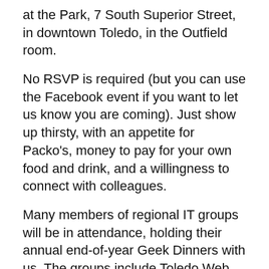at the Park, 7 South Superior Street, in downtown Toledo, in the Outfield room.
No RSVP is required (but you can use the Facebook event if you want to let us know you are coming). Just show up thirsty, with an appetite for Packo's, money to pay for your own food and drink, and a willingness to connect with colleagues.
Many members of regional IT groups will be in attendance, holding their annual end-of-year Geek Dinners with us. The groups include Toledo Web Professionals, The Nerd Summit, NWOACM, NWOFMPUG, Toledo iOS Developers, and NWNUG. You will be able to meet the leaders and members of the groups at the event.
You are NOT required to be a member of any of those groups to attend. We welcome anyone who